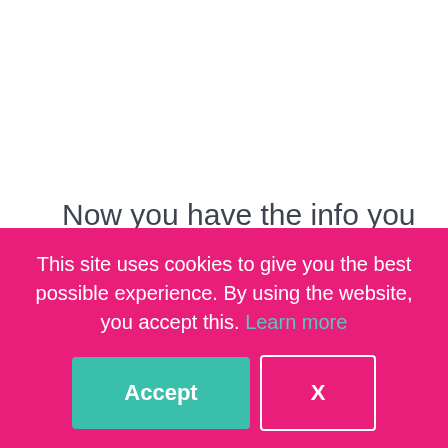Now you have the info you need to start a Tunisian crochet project.
Choose a small project like a dishcloth. Work your way up to bigger, challenging
This site uses cookies to give you the best possible experience. By using the website, you accept this. Learn more